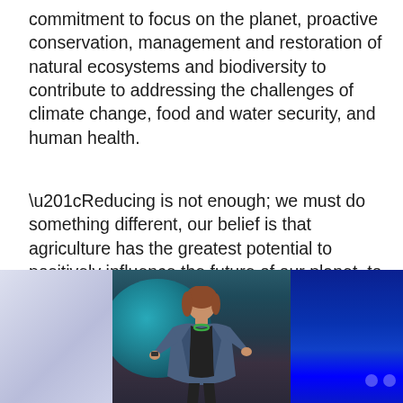commitment to focus on the planet, proactive conservation, management and restoration of natural ecosystems and biodiversity to contribute to addressing the challenges of climate change, food and water security, and human health.
“Reducing is not enough; we must do something different, our belief is that agriculture has the greatest potential to positively influence the future of our planet, to provide nutrition for all and to help rural communities thrive and replenish our planet’s resources,” said Lyons.
[Figure (photo): A woman with brown hair wearing a denim jacket and black top speaks on stage. Behind her is a large teal circular projection on a dark background. To the right is a vivid blue background. To the left is a pale lavender-gray panel.]